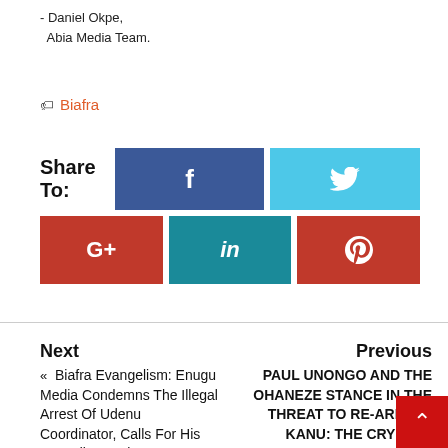- Daniel Okpe,
  Abia Media Team.
Biafra
Share To:
[Figure (other): Social share buttons: Facebook, Twitter, Google+, LinkedIn, Pinterest]
Next
« Biafra Evangelism: Enugu Media Condemns The Illegal Arrest Of Udenu Coordinator, Calls For His Immediate Release
Previous
PAUL UNONGO AND THE OHANEZE STANCE IN THE THREAT TO RE-ARREST KANU: THE CRY OF A LEADER THAT WATCHED WHILE HIS AGATU PEOPLE WERE RAPED MAIMED, AND KILLED